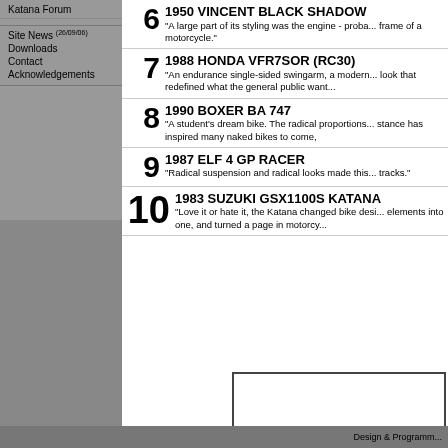Katana Forum
Site News (26/09/06)
Downloads
Contact
Acknowledgements
6 1950 VINCENT BLACK SHADOW "A large part of its styling was the engine - prob... frame of a motorcycle."
7 1988 HONDA VFR7SOR (RC30) "An endurance single-sided swingarm, a modern... look that redefined what the general public want..."
8 1990 BOXER BA 747 "A student's dream bike. The radical proportions... stance has inspired many naked bikes to come,"
9 1987 ELF 4 GP RACER "Radical suspension and radical looks made this... tracks."
10 1983 SUZUKI GSX1100S KATANA "Love it or hate it, the Katana changed bike desi... elements into one, and turned a page in motorcy..."
[Figure (other): White image box with dark border, partially visible at bottom right of content area]
Design & Programm...